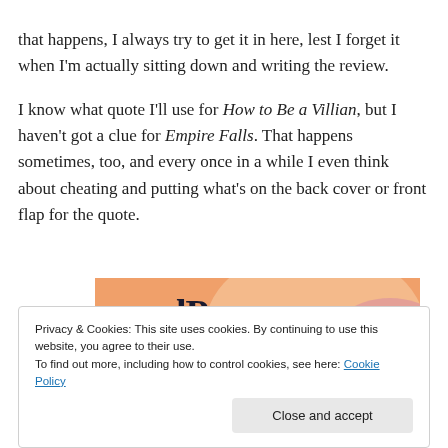that happens, I always try to get it in here, lest I forget it when I'm actually sitting down and writing the review.
I know what quote I'll use for How to Be a Villian, but I haven't got a clue for Empire Falls. That happens sometimes, too, and every once in a while I even think about cheating and putting what's on the back cover or front flap for the quote.
[Figure (screenshot): Partial WordPress advertisement banner showing text 'WordPress in the back.' on an orange and pink gradient background]
Privacy & Cookies: This site uses cookies. By continuing to use this website, you agree to their use.
To find out more, including how to control cookies, see here: Cookie Policy